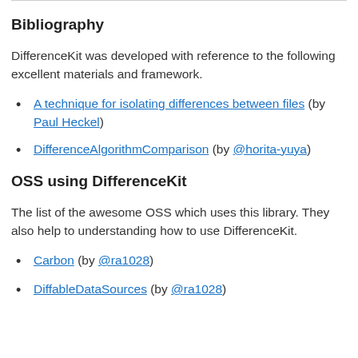Bibliography
DifferenceKit was developed with reference to the following excellent materials and framework.
A technique for isolating differences between files (by Paul Heckel)
DifferenceAlgorithmComparison (by @horita-yuya)
OSS using DifferenceKit
The list of the awesome OSS which uses this library. They also help to understanding how to use DifferenceKit.
Carbon (by @ra1028)
DiffableDataSources (by @ra1028)